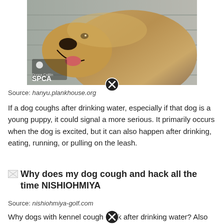[Figure (photo): A golden retriever dog with mouth open and teeth visible, appearing to bark or pant. SPCA logo visible in lower left corner of image.]
Source: hanyu.plankhouse.org
If a dog coughs after drinking water, especially if that dog is a young puppy, it could signal a more serious. It primarily occurs when the dog is excited, but it can also happen after drinking, eating, running, or pulling on the leash.
[Figure (photo): Broken image placeholder with text: Why does my dog cough and hack all the time NISHIOHMIYA]
Source: nishiohmiya-golf.com
Why dogs with kennel cough hack after drinking water? Also known as infectious canine tracheobronchitis, kennel cough in dogs is the least serious reason why a dog